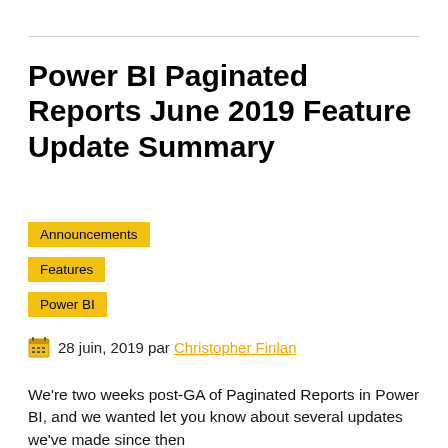Power BI Paginated Reports June 2019 Feature Update Summary
Announcements
Features
Power BI
28 juin, 2019 par Christopher Finlan
We're two weeks post-GA of Paginated Reports in Power BI, and we wanted let you know about several updates we've made since then